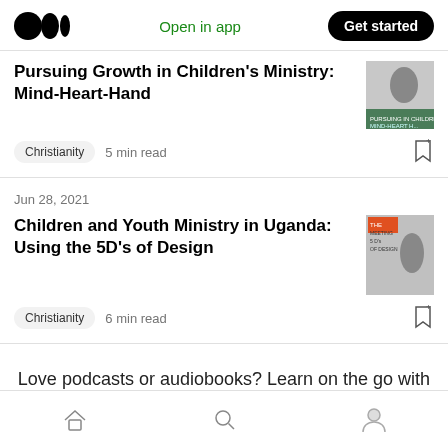Medium logo | Open in app | Get started
Pursuing Growth in Children's Ministry: Mind-Heart-Hand
Christianity  5 min read
Jun 28, 2021
Children and Youth Ministry in Uganda: Using the 5D's of Design
Christianity  6 min read
Love podcasts or audiobooks? Learn on the go with our new app.
Home | Search | Profile